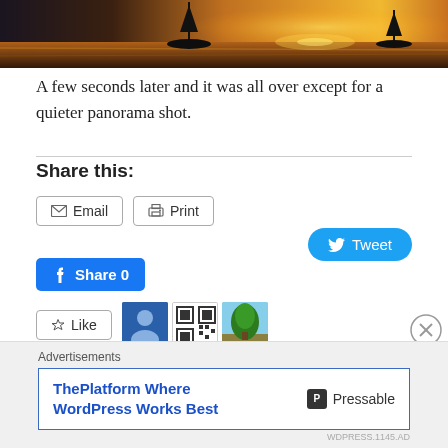[Figure (photo): Sunset over water with silhouettes of boat masts, warm orange and golden tones reflecting on the water surface.]
A few seconds later and it was all over except for a quieter panorama shot.
Share this:
Email  Print  Tweet  Share 0
3 bloggers like this.
Advertisements
ThePlatform Where WordPress Works Best  Pressable